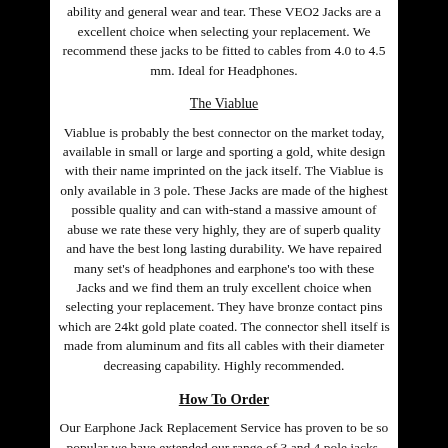ability and general wear and tear. These VEO2 Jacks are a excellent choice when selecting your replacement. We recommend these jacks to be fitted to cables from 4.0 to 4.5 mm. Ideal for Headphones.
The Viablue
Viablue is probably the best connector on the market today, available in small or large and sporting a gold, white design with their name imprinted on the jack itself. The Viablue is only available in 3 pole. These Jacks are made of the highest possible quality and can with-stand a massive amount of abuse we rate these very highly, they are of superb quality and have the best long lasting durability. We have repaired many set's of headphones and earphone's too with these Jacks and we find them an truly excellent choice when selecting your replacement. They have bronze contact pins which are 24kt gold plate coated. The connector shell itself is made from aluminum and fits all cables with their diameter decreasing capability. Highly recommended.
How To Order
Our Earphone Jack Replacement Service has proven to be so popular we have extended our range of 3 and 4 pole jacks. All of our jacks are ordered direct from the Manufacturers so you as the customer will have no doubts that the quality of these